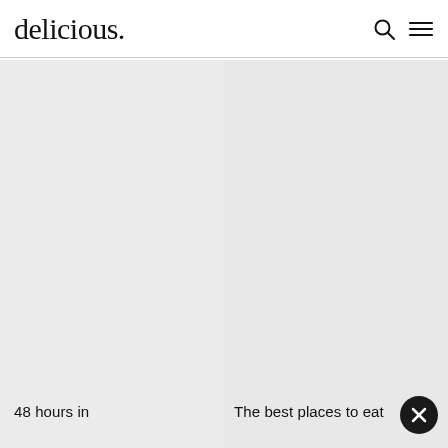delicious.
48 hours in
The best places to eat